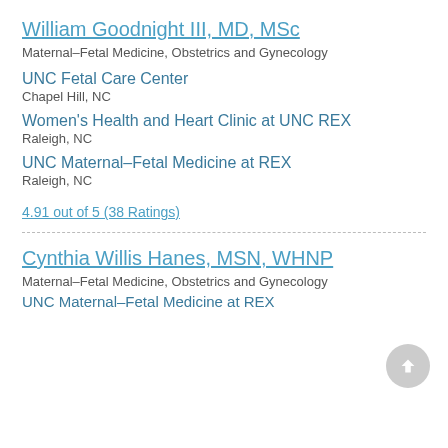William Goodnight III, MD, MSc
Maternal-Fetal Medicine, Obstetrics and Gynecology
UNC Fetal Care Center
Chapel Hill, NC
Women's Health and Heart Clinic at UNC REX
Raleigh, NC
UNC Maternal-Fetal Medicine at REX
Raleigh, NC
4.91 out of 5 (38 Ratings)
Cynthia Willis Hanes, MSN, WHNP
Maternal-Fetal Medicine, Obstetrics and Gynecology
UNC Maternal-Fetal Medicine at REX